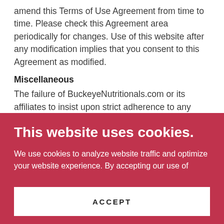amend this Terms of Use Agreement from time to time. Please check this Agreement area periodically for changes. Use of this website after any modification implies that you consent to this Agreement as modified.
Miscellaneous
The failure of BuckeyeNutritionals.com or its affiliates to insist upon strict adherence to any term of this Agreement shall not constitute a waiver of
This website uses cookies.
We use cookies to analyze website traffic and optimize your website experience. By accepting our use of cookies, your data will be aggregated with all other user data.
ACCEPT